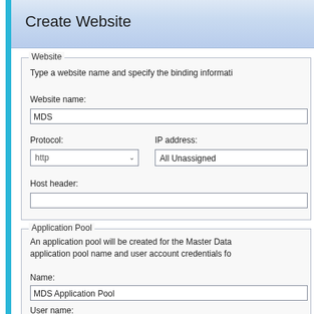Create Website
Website
Type a website name and specify the binding informati
Website name:
MDS
Protocol:
IP address:
http
All Unassigned
Host header:
Application Pool
An application pool will be created for the Master Data application pool name and user account credentials fo
Name:
MDS Application Pool
User name: